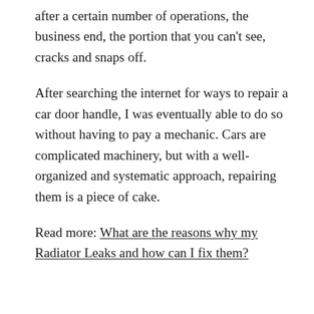after a certain number of operations, the business end, the portion that you can't see, cracks and snaps off.
After searching the internet for ways to repair a car door handle, I was eventually able to do so without having to pay a mechanic. Cars are complicated machinery, but with a well-organized and systematic approach, repairing them is a piece of cake.
Read more: What are the reasons why my Radiator Leaks and how can I fix them?